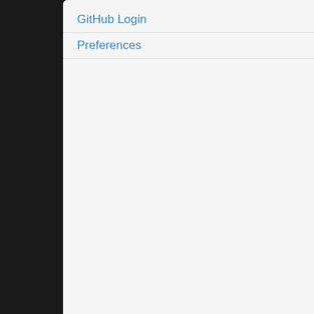GitHub Login
Preferences
4:21 PM Ticket #3737 (TypeError: re... fixed: Fixed at [0004].
src/event.js
test/unit/event.js
jquery event: Closes #3662. Adds a
4:20 PM Changeset [8cd50a3] 1.12-
src/core.js
jquery core: Closes #3737. Fixed a p
4:09 PM Changeset [eff400e] 1.12-s
src/selector.js
jquery selector: Removed a needles
4:00 PM Changeset [e4d8365] 1.12-
src/fx.js
jquery fx: Fixed redundant code
3:01 PM Ticket #3744 (Broken links
invalid: This belongs to the → UI B
3:13 PM Ticket #3219 (boolean argu
fixed: Added at [0000] and [0001].
3:13 PM Changeset [654d946] 1.12-
src/fx.js
test/unit/fx.js
jquery fx: Closes #3219. jQuery.fn.to